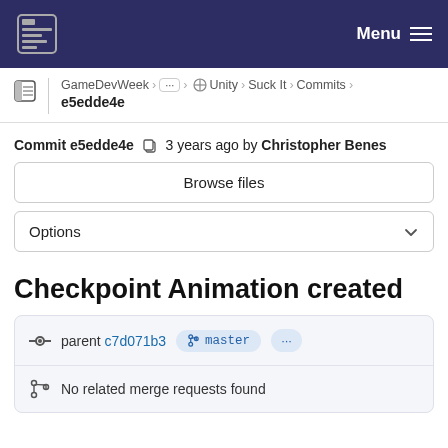Menu
GameDevWeek > ... > Unity > Suck It > Commits > e5edde4e
Commit e5edde4e 3 years ago by Christopher Benes
Browse files
Options
Checkpoint Animation created
parent c7d071b3 master ... No related merge requests found